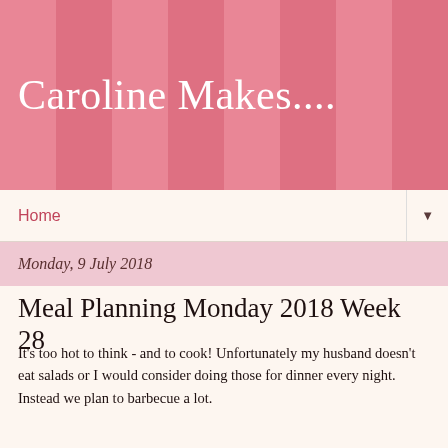Caroline Makes....
Home
Monday, 9 July 2018
Meal Planning Monday 2018 Week 28
It's too hot to think - and to cook! Unfortunately my husband doesn't eat salads or I would consider doing those for dinner every night. Instead we plan to barbecue a lot.
Since having a baby I don't have a lot of time to prepare food so while I'd love to be trying out new barbecue recipes every time, I'm more likely to be found ordering ready-marinated meat and ready-to-cook things from the supermarket, but there are a few easy but tasty things we can do to liven it up a bit.